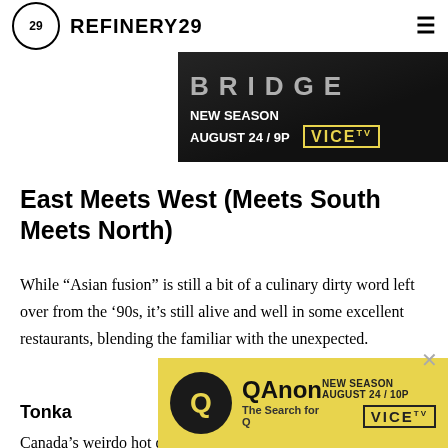REFINERY29
[Figure (photo): Dark promotional banner for VICE TV show 'THE BRIDGE' (partially visible), showing escalator steps in black and white. Text reads 'NEW SEASON AUGUST 24 / 9P' with VICE TV logo.]
East Meets West (Meets South Meets North)
While “Asian fusion” is still a bit of a culinary dirty word left over from the ’90s, it’s still alive and well in some excellent restaurants, blending the familiar with the unexpected.
Tonka
Canada’s weirdo hot dog shop specializes in bizarre
[Figure (photo): Advertisement banner for QAnon: The Search for Q on VICE TV. Yellow background with black circular Q logo, text 'QAnon The Search for Q', 'NEW SEASON AUGUST 24 / 10P' and VICE TV logo.]